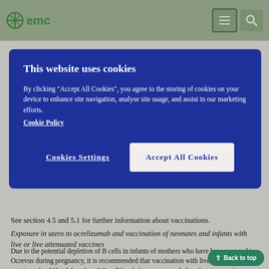emc
Ocrevus.
See section 4.5 and 5.1 for further information about vaccinations.
Exposure in utero to ocrelizumab and vaccination of neonates and infants with live or live attenuated vaccines
Due to the potential depletion of B cells in infants of mothers who have been exposed to Ocrevus during pregnancy, it is recommended that vaccination with live or live-attenuated vaccines should be delayed until B-cell levels have recovered; therefore, measuring CD19-positive B-cell levels, in neonates and infants, prior to vaccination is recommended.
It is recommended that all vaccinations other than live or live
[Figure (screenshot): Cookie consent modal with dark blue background. Title: 'This website uses cookies'. Body text explaining cookie storage policy with a Cookie Policy link. Two buttons: 'Cookies Settings' and 'Accept All Cookies'.]